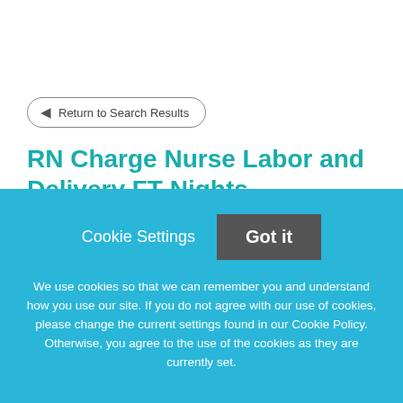Return to Search Results
RN Charge Nurse Labor and Delivery FT Nights
*Sign on Bonus up to $15K for Eligible Candidates*
Cookie Settings
Got it
We use cookies so that we can remember you and understand how you use our site. If you do not agree with our use of cookies, please change the current settings found in our Cookie Policy. Otherwise, you agree to the use of the cookies as they are currently set.